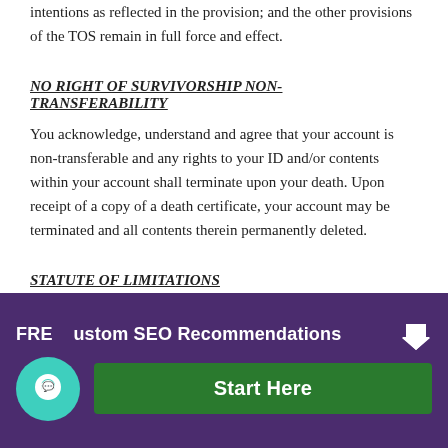intentions as reflected in the provision; and the other provisions of the TOS remain in full force and effect.
NO RIGHT OF SURVIVORSHIP NON-TRANSFERABILITY
You acknowledge, understand and agree that your account is non-transferable and any rights to your ID and/or contents within your account shall terminate upon your death. Upon receipt of a copy of a death certificate, your account may be terminated and all contents therein permanently deleted.
STATUTE OF LIMITATIONS
You acknowledge, understand and agree that regardless of any statute or law to the contrary, any
[Figure (infographic): Dark purple banner overlay at bottom of page advertising 'FREE Custom SEO Recommendations' with a teal chat bubble icon on the left, a green 'Start Here' button, and a downward arrow on the right.]